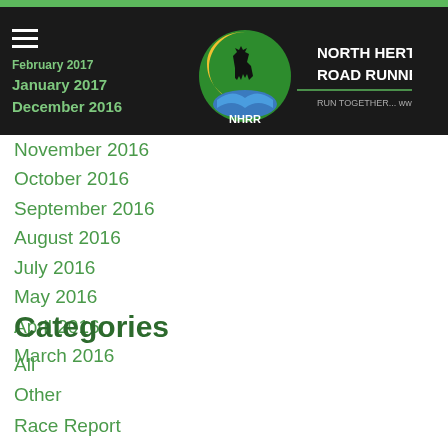February 2017
January 2017
December 2016
[Figure (logo): North Herts Road Runners logo with NHRR circular emblem and text 'RUN TOGETHER... www.nhrr.org.uk']
November 2016
October 2016
September 2016
August 2016
July 2016
May 2016
April 2016
March 2016
Categories
All
Other
Race Report